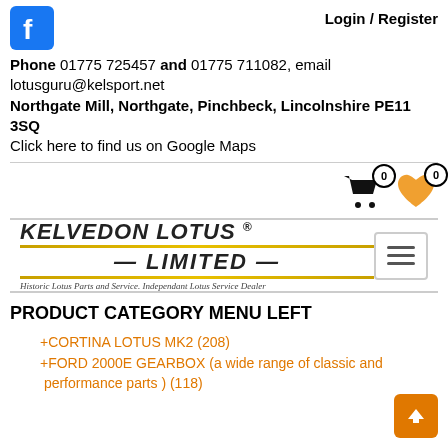[Figure (logo): Facebook logo icon (blue square with white f)]
Login / Register
Phone 01775 725457 and 01775 711082, email lotusguru@kelsport.net
Northgate Mill, Northgate, Pinchbeck, Lincolnshire PE11 3SQ
Click here to find us on Google Maps
[Figure (illustration): Shopping cart icon with badge showing 0, and heart icon with badge showing 0]
[Figure (logo): Kelvedon Lotus Limited logo with gold lines and tagline: Historic Lotus Parts and Service. Independant Lotus Service Dealer]
[Figure (illustration): Hamburger menu button (three horizontal lines)]
PRODUCT CATEGORY MENU LEFT
+CORTINA LOTUS MK2 (208)
+FORD 2000E GEARBOX (a wide range of classic and performance parts ) (118)